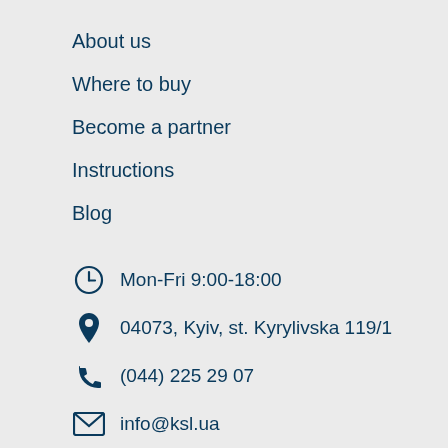About us
Where to buy
Become a partner
Instructions
Blog
Mon-Fri 9:00-18:00
04073, Kyiv, st. Kyrylivska 119/1
(044) 225 29 07
info@ksl.ua